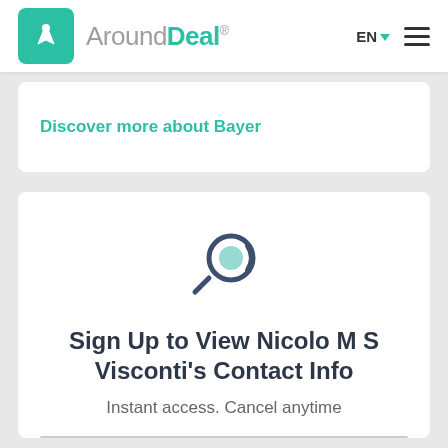AroundDeal® EN ☰
Discover more about Bayer
[Figure (illustration): Magnifying glass icon with teal circle lens and dark navy outline, representing search/lookup functionality]
Sign Up to View Nicolo M S Visconti's Contact Info
Instant access. Cancel anytime